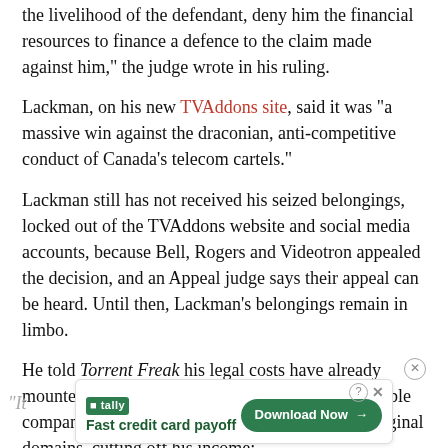the livelihood of the defendant, deny him the financial resources to finance a defence to the claim made against him," the judge wrote in his ruling.
Lackman, on his new TVAddons site, said it was "a massive win against the draconian, anti-competitive conduct of Canada’s telecom cartels."
Lackman still has not received his seized belongings, locked out of the TVAddons website and social media accounts, because Bell, Rogers and Videotron appealed the decision, and an Appeal judge says their appeal can be heard. Until then, Lackman’s belongings remain in limbo.
He told Torrent Freak his legal costs have already mounted to over $100,000—and he cannot fight cable companies alone, since they have control of his original domains, cutting off his income:
[Figure (other): Advertisement banner for Tally app: 'Fast credit card payoff' with a Download Now button, close (X) and help (?) icons.]